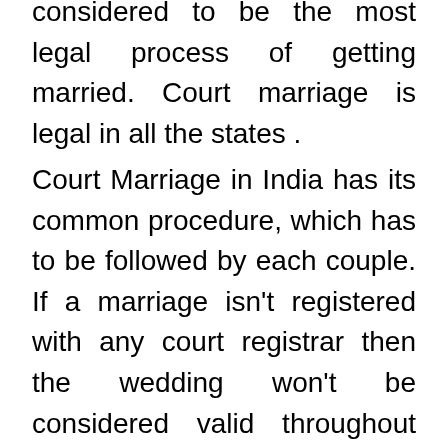considered to be the most legal process of getting married. Court marriage is legal in all the states .
Court Marriage in India has its common procedure, which has to be followed by each couple. If a marriage isn't registered with any court registrar then the wedding won't be considered valid throughout legal procedures like applying for a joint home loan, Visa. You could even be penalized for not registering your wedding. It is a rule that all marriages need to be registered whether you're having a marriage ceremony or not. A marriage certificate is an important part of the...